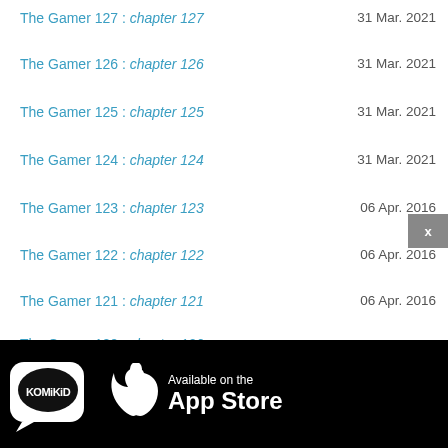The Gamer 127 : chapter 127 — 31 Mar. 2021
The Gamer 126 : chapter 126 — 31 Mar. 2021
The Gamer 125 : chapter 125 — 31 Mar. 2021
The Gamer 124 : chapter 124 — 31 Mar. 2021
The Gamer 123 : chapter 123 — 06 Apr. 2016
The Gamer 122 : chapter 122 — 06 Apr. 2016
The Gamer 121 : chapter 121 — 06 Apr. 2016
The Gamer 120 : chapter 120
[Figure (logo): KomiKid App Store banner — KomiKid logo on left, Apple logo in center, 'Available on the App Store' text on right, black background]